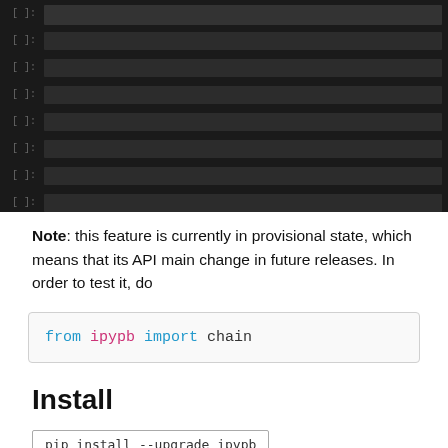[Figure (screenshot): Dark-themed code editor with line numbers on the left and dark code lines on the right]
Note: this feature is currently in provisional state, which means that its API main change in future releases. In order to test it, do
from ipypb import chain
Install
pip install --upgrade ipypb
Requirements